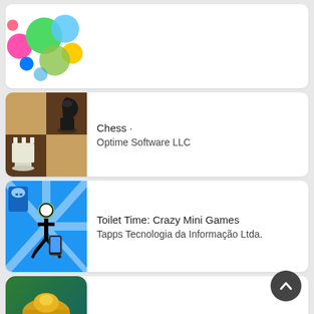[Figure (screenshot): App icon for a circles/bubbles game — colorful circles on white background]
[Figure (screenshot): Chess app icon — wooden chessboard with black knight and white rook pieces]
Chess ·
Optime Software LLC
[Figure (screenshot): Toilet Time: Crazy Mini Games app icon — blue background with stick figure on toilet and blue character]
Toilet Time: Crazy Mini Games
Tapps Tecnologia da Informação Ltda.
[Figure (screenshot): Castle Clash: War Empire app icon — elf warrior character with golden helmet]
Castle Clash: War Empire
IGG.COM